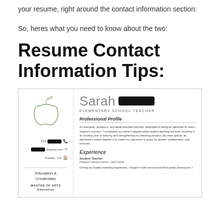your resume, right around the contact information section:
So, heres what you need to know about the two:
Resume Contact Information Tips:
[Figure (other): Screenshot of a teacher resume for 'Sarah [redacted]', Elementary School Teacher, with a green apple logo, contact info (phone, gmail, Tualatin OR), Education & Credentials section showing Master of Arts Education, Professional Profile, and Experience section with Student Teacher at Hillsboro School District 2017-2018.]